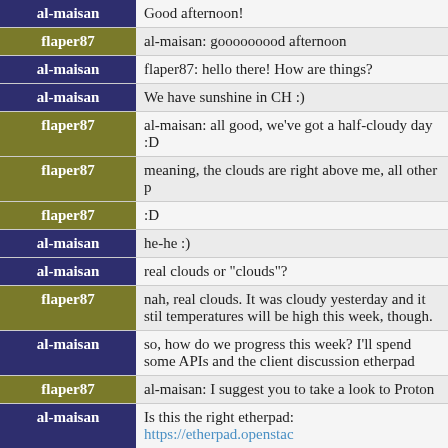| User | Message |
| --- | --- |
| al-maisan | Good afternoon! |
| flaper87 | al-maisan: gooooooood afternoon |
| al-maisan | flaper87: hello there! How are things? |
| al-maisan | We have sunshine in CH :) |
| flaper87 | al-maisan: all good, we've got a half-cloudy day :D |
| flaper87 | meaning, the clouds are right above me, all other p |
| flaper87 | :D |
| al-maisan | he-he :) |
| al-maisan | real clouds or "clouds"? |
| flaper87 | nah, real clouds. It was cloudy yesterday and it stil temperatures will be high this week, though. |
| al-maisan | so, how do we progress this week? I'll spend some APIs and the client discussion etherpad |
| flaper87 | al-maisan: I suggest you to take a look to Proton |
| al-maisan | Is this the right etherpad: https://etherpad.openstac |
| flaper87 | al-maisan: http://qpid.apache.org/proton/ |
| al-maisan | OK, will do. |
| flaper87 | al-maisan: https://etherpad.openstack.org/marconi- |
| flaper87 | I'll review patches in a bit |
| al-maisan | thanks!! |
| flaper87 | I've been covering some internal things today |